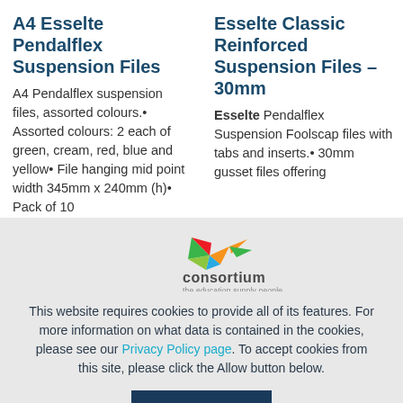A4 Esselte Pendalflex Suspension Files
A4 Pendalflex suspension files, assorted colours.• Assorted colours: 2 each of green, cream, red, blue and yellow• File hanging mid point width 345mm x 240mm (h)• Pack of 10
Esselte Classic Reinforced Suspension Files - 30mm
Esselte Pendalflex Suspension Foolscap files with tabs and inserts.• 30mm gusset files offering
[Figure (logo): Consortium - the education supply people logo with colorful bird]
This website requires cookies to provide all of its features. For more information on what data is contained in the cookies, please see our Privacy Policy page. To accept cookies from this site, please click the Allow button below.